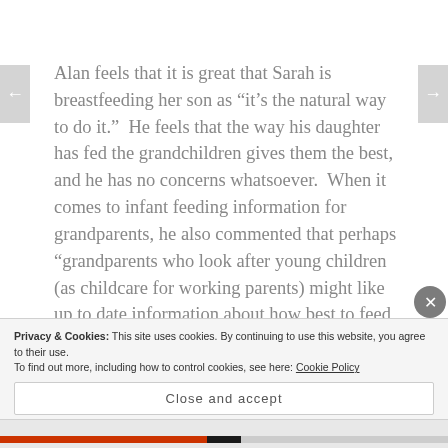Alan feels that it is great that Sarah is breastfeeding her son as “it’s the natural way to do it.”  He feels that the way his daughter has fed the grandchildren gives them the best, and he has no concerns whatsoever.  When it comes to infant feeding information for grandparents, he also commented that perhaps “grandparents who look after young children (as childcare for working parents) might like up to date information about how best to feed
Privacy & Cookies: This site uses cookies. By continuing to use this website, you agree to their use.
To find out more, including how to control cookies, see here: Cookie Policy
Close and accept